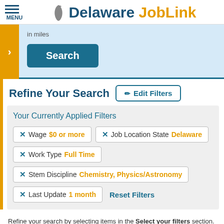MENU | Delaware JobLink
in miles
Search
Refine Your Search
Edit Filters
Your Currently Applied Filters
× Wage $0 or more
× Job Location State Delaware
× Work Type Full Time
× Stem Discipline Chemistry, Physics/Astronomy
× Last Update 1 month
Reset Filters
Refine your search by selecting items in the Select your filters section. Search matches are limited to 10,000 for site